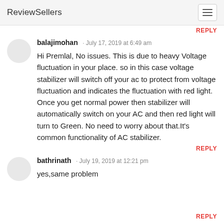ReviewSellers
REPLY
balajimohan · July 17, 2019 at 6:49 am
Hi Premlal, No issues. This is due to heavy Voltage fluctuation in your place. so in this case voltage stabilizer will switch off your ac to protect from voltage fluctuation and indicates the fluctuation with red light. Once you get normal power then stabilizer will automatically switch on your AC and then red light will turn to Green. No need to worry about that.It's common functionality of AC stabilizer.
REPLY
bathrinath · July 19, 2019 at 12:21 pm
yes,same problem
REPLY